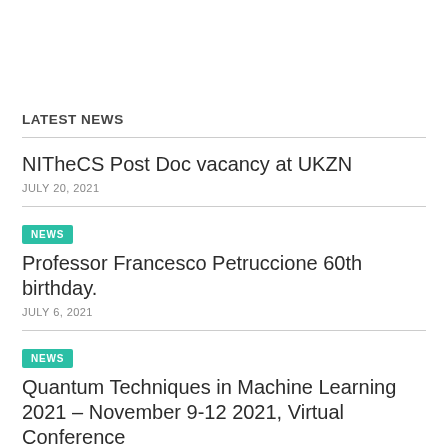LATEST NEWS
NITheCS Post Doc vacancy at UKZN
JULY 20, 2021
NEWS
Professor Francesco Petruccione 60th birthday.
JULY 6, 2021
NEWS
Quantum Techniques in Machine Learning 2021 – November 9-12 2021, Virtual Conference